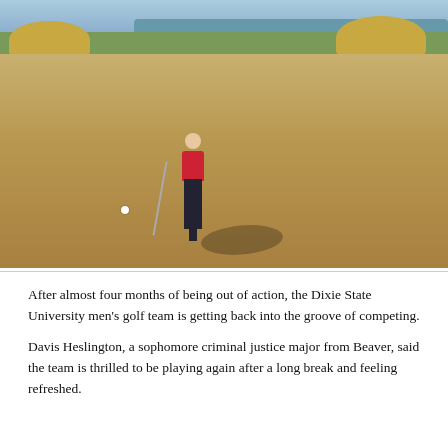[Figure (photo): A golfer in dark pants and red shirt putting on a golf course, with a water feature and dry grass/reeds in the background. The golfer's long shadow extends to the right. A golf ball is visible on the ground in front of the putter.]
After almost four months of being out of action, the Dixie State University men's golf team is getting back into the groove of competing.
Davis Heslington, a sophomore criminal justice major from Beaver, said the team is thrilled to be playing again after a long break and feeling refreshed.